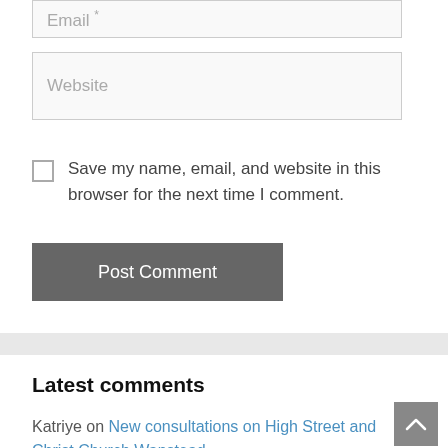Email
Website
Save my name, email, and website in this browser for the next time I comment.
Post Comment
Latest comments
Katriye on New consultations on High Street and Christ Church Wanstead